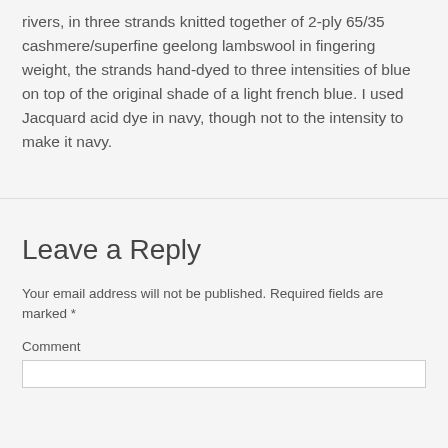rivers, in three strands knitted together of 2-ply 65/35 cashmere/superfine geelong lambswool in fingering weight, the strands hand-dyed to three intensities of blue on top of the original shade of a light french blue. I used Jacquard acid dye in navy, though not to the intensity to make it navy.
Leave a Reply
Your email address will not be published. Required fields are marked *
Comment